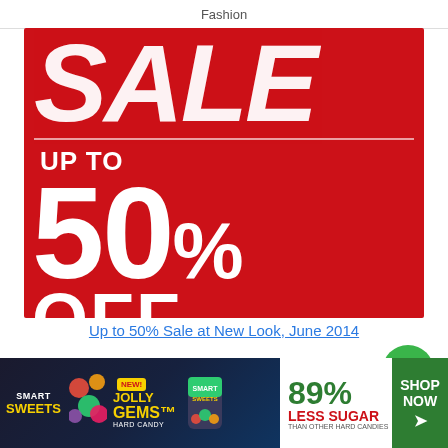Fashion
[Figure (illustration): Red sale banner with white text reading SALE, UP TO, 50%, OFF on a bright red background]
Up to 50% Sale at New Look, June 2014
Ready for you now to get its Sale at New Look fashion in Dubai, Sharjah, Abu Dhabi, Fujairah, Ras Al Khaimah and Al Ain like no other Sale. What are you
[Figure (illustration): Smart Sweets Jolly Gems Hard Candy advertisement banner with green, yellow and dark background and 89% Less Sugar than other hard candies Shop Now button]